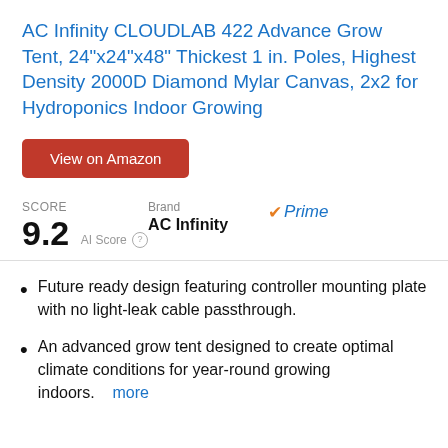AC Infinity CLOUDLAB 422 Advance Grow Tent, 24"x24"x48" Thickest 1 in. Poles, Highest Density 2000D Diamond Mylar Canvas, 2x2 for Hydroponics Indoor Growing
View on Amazon
SCORE 9.2 AI Score   Brand AC Infinity   ✔Prime
Future ready design featuring controller mounting plate with no light-leak cable passthrough.
An advanced grow tent designed to create optimal climate conditions for year-round growing indoors. more